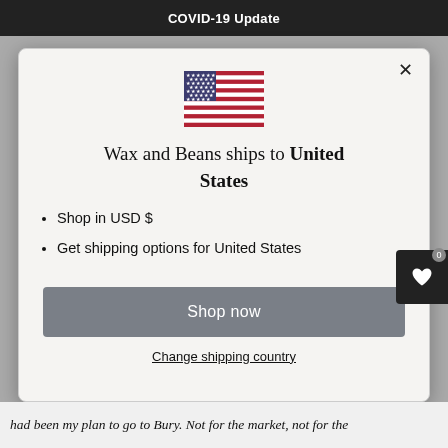COVID-19 Update
[Figure (illustration): US flag emoji/icon centered in modal]
Wax and Beans ships to United States
Shop in USD $
Get shipping options for United States
Shop now
Change shipping country
had been my plan to go to Bury. Not for the market, not for the